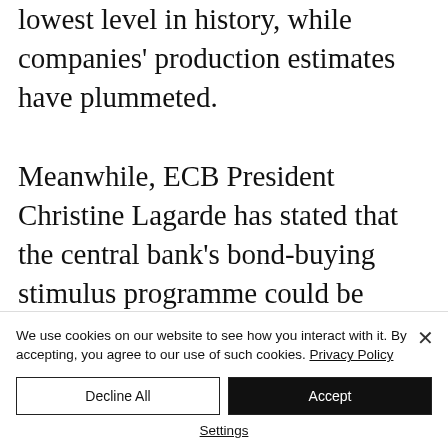lowest level in history, while companies' production estimates have plummeted.

Meanwhile, ECB President Christine Lagarde has stated that the central bank's bond-buying stimulus programme could be phased down in the third quarter due to rising inflationary pressures.
We use cookies on our website to see how you interact with it. By accepting, you agree to our use of such cookies. Privacy Policy
Decline All
Accept
Settings